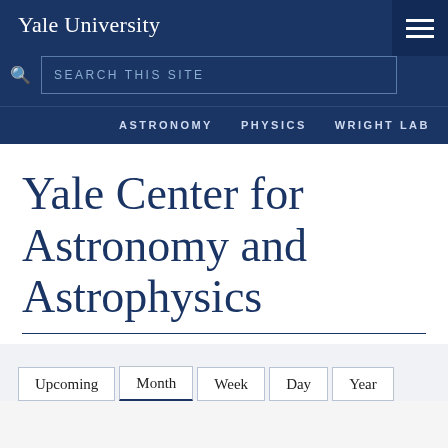Yale University
SEARCH THIS SITE
ASTRONOMY   PHYSICS   WRIGHT LAB
Yale Center for Astronomy and Astrophysics
Upcoming
Month
Week
Day
Year